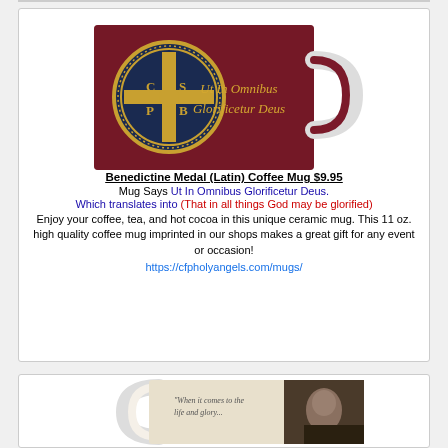[Figure (photo): Benedictine Medal (Latin) Coffee Mug — dark red ceramic mug with gold Benedictine Medal cross emblem on the left and gothic Latin text 'Ut In Omnibus Glorificetur Deus' on the right. White handle visible on right side.]
Benedictine Medal (Latin) Coffee Mug $9.95
Mug Says Ut In Omnibus Glorificetur Deus.
Which translates into (That in all things God may be glorified)
Enjoy your coffee, tea, and hot cocoa in this unique ceramic mug. This 11 oz. high quality coffee mug imprinted in our shops makes a great gift for any event or occasion!
https://cfpholyangels.com/mugs/
[Figure (photo): Partial view of a white coffee mug with vintage-style text/quote printed on it, and a sepia-toned portrait photo of a person on the right side of the mug.]